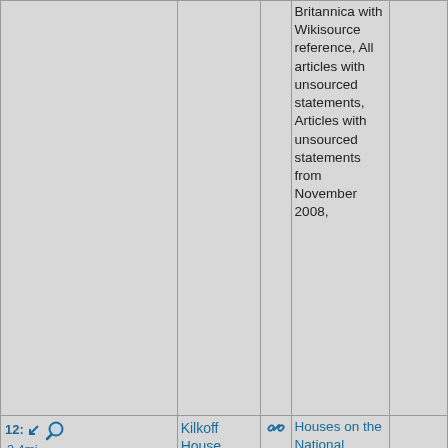| Location/Icons | Name | Link | Categories | Photo |
| --- | --- | --- | --- | --- |
|  |  |  | Britannica with Wikisource reference, All articles with unsourced statements, Articles with unsourced statements from November 2008, |  |
| 12: 2.4mi [icons] | Kilkoff House | [link] | Houses on the National Register of Historic Places in Volusia County, Florida, DeLand, Florida, Volusia County, Florida Registered Historic Place stubs, Hidden categories:, Articles sourced only to NRIS from January | [photo of white historic house] |
[Figure (photo): White historic house (Kilkoff House) with columns and green lawn, blue sky with trees in background]